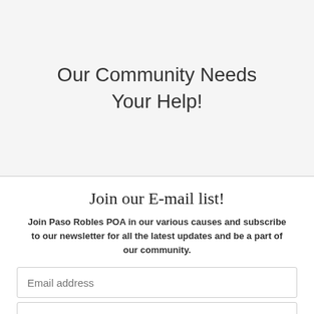Our Community Needs Your Help!
Join our E-mail list!
Join Paso Robles POA in our various causes and subscribe to our newsletter for all the latest updates and be a part of our community.
Email address